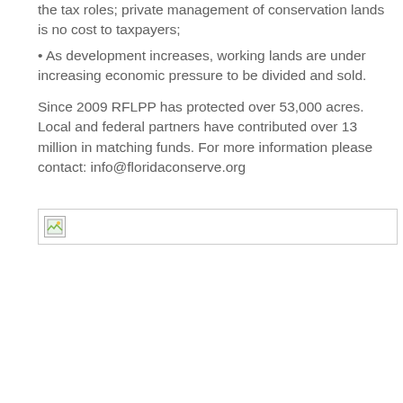the tax roles; private management of conservation lands is no cost to taxpayers;
• As development increases, working lands are under increasing economic pressure to be divided and sold.
Since 2009 RFLPP has protected over 53,000 acres. Local and federal partners have contributed over 13 million in matching funds. For more information please contact: info@floridaconserve.org
[Figure (photo): Broken/missing image placeholder shown as a small icon in a bordered box]